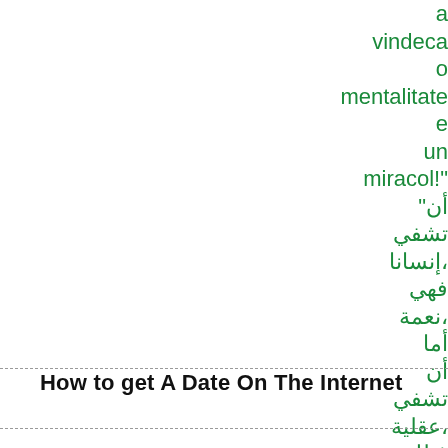a vindeca o mentalitate e un miracol! "أن تشفي إنسانا، فهي نعمة، أما أن تشفي عقلية، فتلك معجزة"
How to get A Date On The Internet